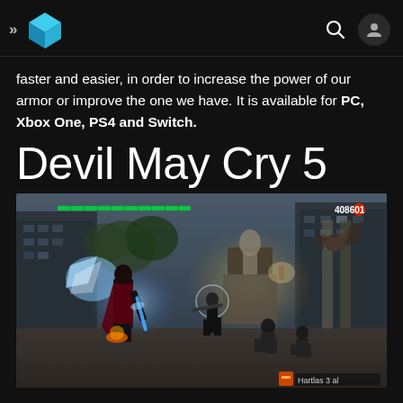>> [logo] [search] [avatar]
faster and easier, in order to increase the power of our armor or improve the one we have. It is available for PC, Xbox One, PS4 and Switch.
Devil May Cry 5
[Figure (screenshot): Devil May Cry 5 gameplay screenshot showing a character in a dark coat fighting demon enemies on a stone street with a glowing blue energy blast, green health bar at top left, score 408601 at top right, and a weapon HUD at bottom right showing 'Hartlas 3 al'.]